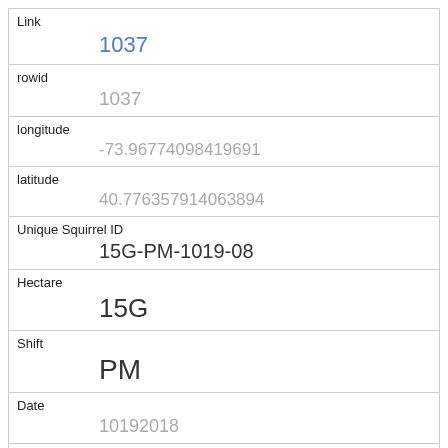| Field | Value |
| --- | --- |
| Link | 1037 |
| rowid | 1037 |
| longitude | -73.96774098419691 |
| latitude | 40.776357914063894 |
| Unique Squirrel ID | 15G-PM-1019-08 |
| Hectare | 15G |
| Shift | PM |
| Date | 10192018 |
| Hectare Squirrel Number | 8 |
| Age | Adult |